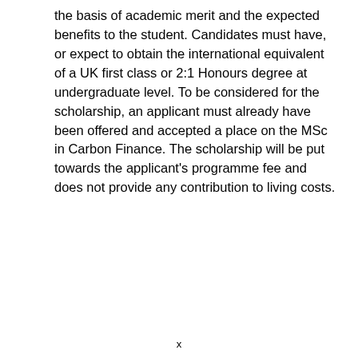the basis of academic merit and the expected benefits to the student. Candidates must have, or expect to obtain the international equivalent of a UK first class or 2:1 Honours degree at undergraduate level. To be considered for the scholarship, an applicant must already have been offered and accepted a place on the MSc in Carbon Finance. The scholarship will be put towards the applicant's programme fee and does not provide any contribution to living costs.
x